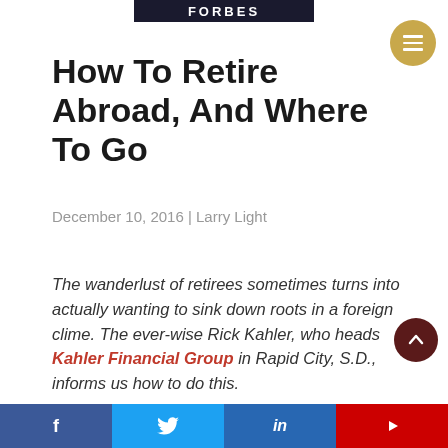Forbes
How To Retire Abroad, And Where To Go
December 10, 2016 | Larry Light
The wanderlust of retirees sometimes turns into actually wanting to sink down roots in a foreign clime. The ever-wise Rick Kahler, who heads Kahler Financial Group in Rapid City, S.D., informs us how to do this.